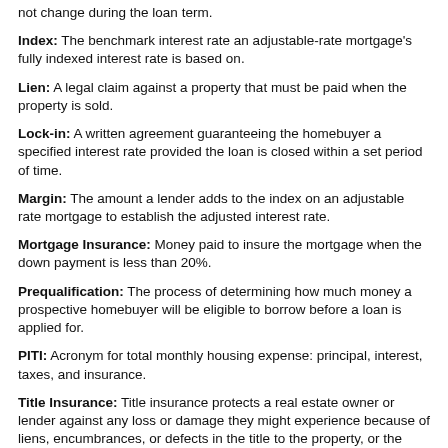not change during the loan term.
Index: The benchmark interest rate an adjustable-rate mortgage's fully indexed interest rate is based on.
Lien: A legal claim against a property that must be paid when the property is sold.
Lock-in: A written agreement guaranteeing the homebuyer a specified interest rate provided the loan is closed within a set period of time.
Margin: The amount a lender adds to the index on an adjustable rate mortgage to establish the adjusted interest rate.
Mortgage Insurance: Money paid to insure the mortgage when the down payment is less than 20%.
Prequalification: The process of determining how much money a prospective homebuyer will be eligible to borrow before a loan is applied for.
PITI: Acronym for total monthly housing expense: principal, interest, taxes, and insurance.
Title Insurance: Title insurance protects a real estate owner or lender against any loss or damage they might experience because of liens, encumbrances, or defects in the title to the property, or the